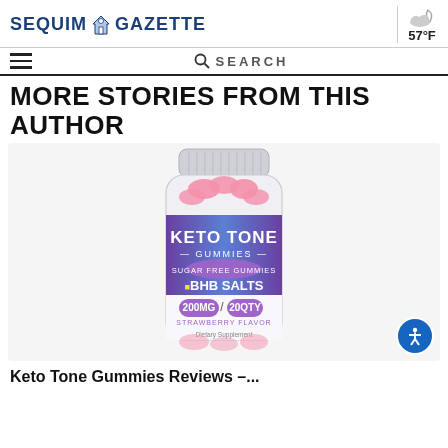SEQUIM GAZETTE | 57°F
MORE STORIES FROM THIS AUTHOR
[Figure (photo): A jar of Keto Tone Gummies product — sugar free gummies with BHB Salts, 200MG per serving, 20QTY, Strawberry Flavor, Dietary Supplement. The jar has pink gummies visible at top with a purple/blue gradient label.]
Keto Tone Gummies Reviews –...